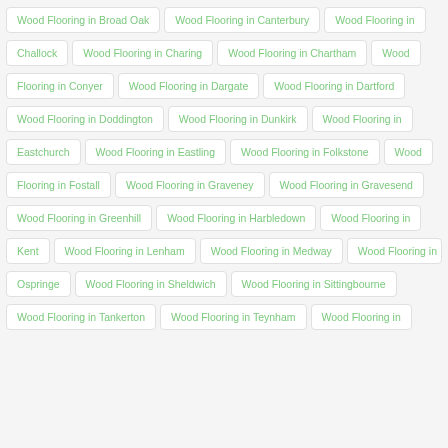Wood Flooring in Broad Oak
Wood Flooring in Canterbury
Wood Flooring in Challock
Wood Flooring in Charing
Wood Flooring in Chartham
Wood Flooring in Conyer
Wood Flooring in Dargate
Wood Flooring in Dartford
Wood Flooring in Doddington
Wood Flooring in Dunkirk
Wood Flooring in Eastchurch
Wood Flooring in Eastling
Wood Flooring in Folkstone
Wood Flooring in Fostall
Wood Flooring in Graveney
Wood Flooring in Gravesend
Wood Flooring in Greenhill
Wood Flooring in Harbledown
Wood Flooring in Kent
Wood Flooring in Lenham
Wood Flooring in Medway
Wood Flooring in Ospringe
Wood Flooring in Sheldwich
Wood Flooring in Sittingbourne
Wood Flooring in Tankerton
Wood Flooring in Teynham
Wood Flooring in (partial)